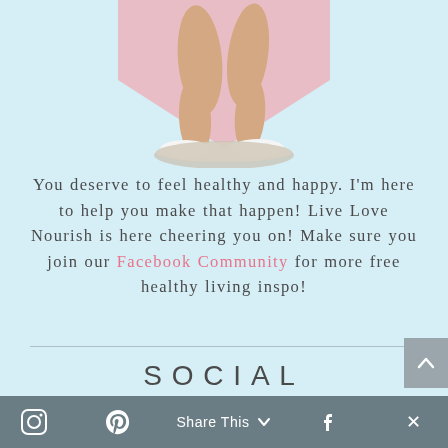[Figure (photo): Photo of a person's legs standing on a scale, with a pink heart/arrow shape in the background, on a light blue background]
You deserve to feel healthy and happy. I'm here to help you make that happen! Live Love Nourish is here cheering you on! Make sure you join our Facebook Community for more free healthy living inspo!
SOCIAL
Share This